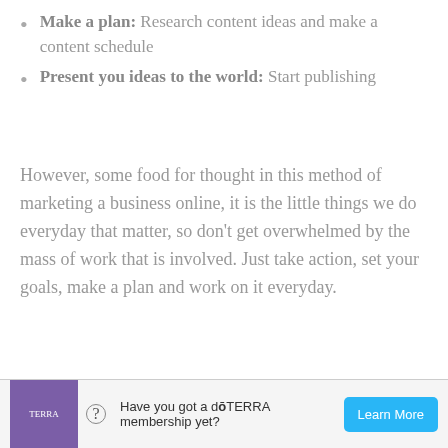Make a plan: Research content ideas and make a content schedule
Present you ideas to the world: Start publishing
However, some food for thought in this method of marketing a business online, it is the little things we do everyday that matter, so don't get overwhelmed by the mass of work that is involved. Just take action, set your goals, make a plan and work on it everyday.
[Figure (other): Teal/green 'Learn More' call-to-action button]
[Figure (other): Bottom advertisement bar with doTERRA branding, text 'Have you got a doTERRA membership yet?' and a 'Learn More' button]